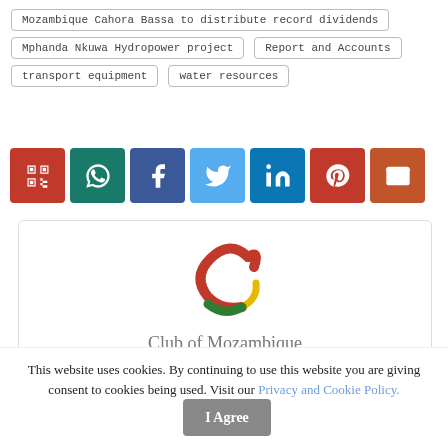Mozambique Cahora Bassa to distribute record dividends
Mphanda Nkuwa Hydropower project
Report and Accounts
transport equipment
water resources
[Figure (screenshot): Social sharing buttons row: QR code (red), WhatsApp (dark teal), Facebook (dark blue), Twitter (light blue), LinkedIn (blue), Pinterest (red), Email (orange-red)]
[Figure (logo): Club of Mozambique logo — a stylized C in red, yellow, and green colors]
Club of Mozambique
'Club of Mozambique is an online gateway to
This website uses cookies. By continuing to use this website you are giving consent to cookies being used. Visit our Privacy and Cookie Policy.
I Agree